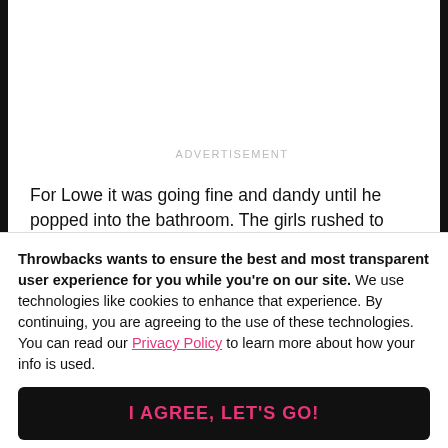ADVERTISEMENT
For Lowe it was going fine and dandy until he popped into the bathroom. The girls rushed to steal his money and took the videotape, which contained a short recording that would change the actor's life.
The release of the tapes
Throwbacks wants to ensure the best and most transparent user experience for you while you're on our site. We use technologies like cookies to enhance that experience. By continuing, you are agreeing to the use of these technologies. You can read our Privacy Policy to learn more about how your info is used.
I AGREE, LET'S GO!